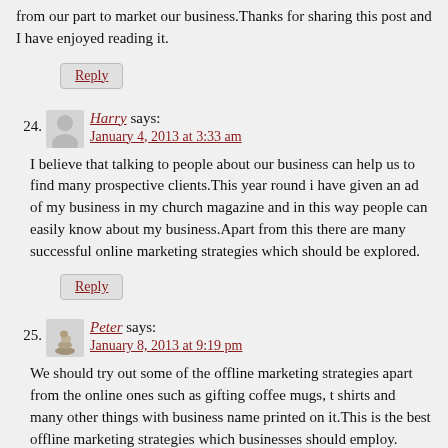from our part to market our business.Thanks for sharing this post and I have enjoyed reading it.
Reply
24. Harry says:
January 4, 2013 at 3:33 am

I believe that talking to people about our business can help us to find many prospective clients.This year round i have given an ad of my business in my church magazine and in this way people can easily know about my business.Apart from this there are many successful online marketing strategies which should be explored.
Reply
25. Peter says:
January 8, 2013 at 9:19 pm

We should try out some of the offline marketing strategies apart from the online ones such as gifting coffee mugs, t shirts and many other things with business name printed on it.This is the best offline marketing strategies which businesses should employ.